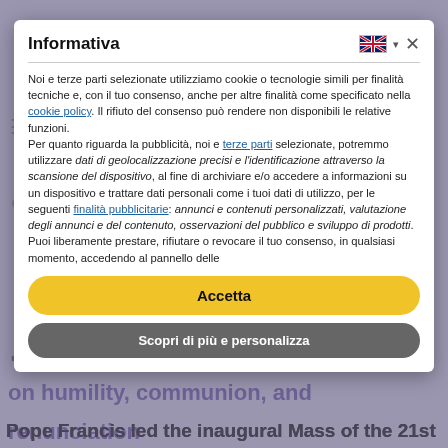[Figure (screenshot): Background of a webpage showing PIME Asia News website with blurred/watermarked content. Visible text includes article headline about focus on humility, communion and renunciation over efficiency, worldliness and self-worship, and a teaser about Pope Francis leading the inaugural Mass of the 21st.]
Informativa
Noi e terze parti selezionate utilizziamo cookie o tecnologie simili per finalità tecniche e, con il tuo consenso, anche per altre finalità come specificato nella cookie policy. Il rifiuto del consenso può rendere non disponibili le relative funzioni. Per quanto riguarda la pubblicità, noi e terze parti selezionate, potremmo utilizzare dati di geolocalizzazione precisi e l'identificazione attraverso la scansione del dispositivo, al fine di archiviare e/o accedere a informazioni su un dispositivo e trattare dati personali come i tuoi dati di utilizzo, per le seguenti finalità pubblicitarie: annunci e contenuti personalizzati, valutazione degli annunci e del contenuto, osservazioni del pubblico e sviluppo di prodotti. Puoi liberamente prestare, rifiutare o revocare il tuo consenso, in qualsiasi momento, accedendo al pannello delle
Accetta
Scopri di più e personalizza
Pope Francis led the inaugural Mass of the 21st